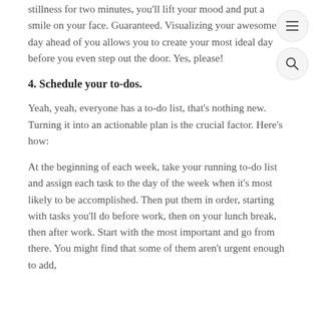stillness for two minutes, you'll lift your mood and put a smile on your face. Guaranteed. Visualizing your awesome day ahead of you allows you to create your most ideal day before you even step out the door. Yes, please!
4. Schedule your to-dos.
Yeah, yeah, everyone has a to-do list, that's nothing new. Turning it into an actionable plan is the crucial factor. Here's how:
At the beginning of each week, take your running to-do list and assign each task to the day of the week when it's most likely to be accomplished. Then put them in order, starting with tasks you'll do before work, then on your lunch break, then after work. Start with the most important and go from there. You might find that some of them aren't urgent enough to add,